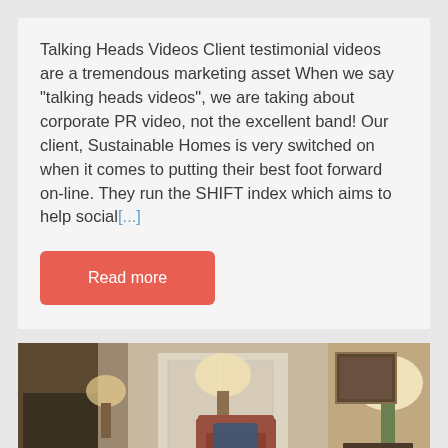Talking Heads Videos Client testimonial videos are a tremendous marketing asset When we say "talking heads videos", we are taking about corporate PR video, not the excellent band! Our client, Sustainable Homes is very switched on when it comes to putting their best foot forward on-line. They run the SHIFT index which aims to help social[...]
Read more
[Figure (photo): Interior photo of a living room with armchairs, lamps, a wooden coffee table with a bowl, flowers in foreground, and wooden flooring]